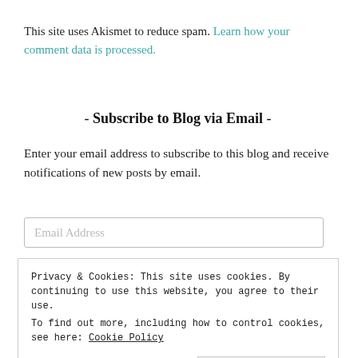This site uses Akismet to reduce spam. Learn how your comment data is processed.
- Subscribe to Blog via Email -
Enter your email address to subscribe to this blog and receive notifications of new posts by email.
Email Address
Privacy & Cookies: This site uses cookies. By continuing to use this website, you agree to their use.
To find out more, including how to control cookies, see here: Cookie Policy
Close and accept